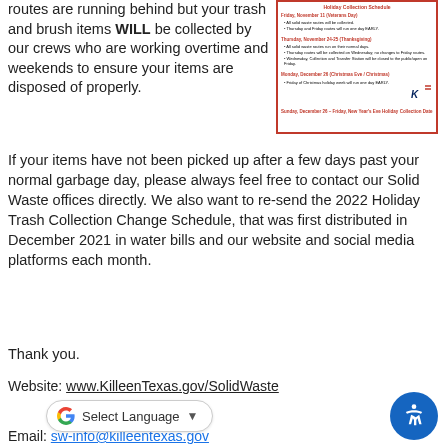routes are running behind but your trash and brush items WILL be collected by our crews who are working overtime and weekends to ensure your items are disposed of properly.
[Figure (other): Holiday trash collection change schedule flyer with red border, showing dates in November and December with bullet points for collection changes, and a Killeen city logo.]
If your items have not been picked up after a few days past your normal garbage day, please always feel free to contact our Solid Waste offices directly. We also want to re-send the 2022 Holiday Trash Collection Change Schedule, that was first distributed in December 2021 in water bills and our website and social media platforms each month.
Thank you.
Website: www.KilleenTexas.gov/SolidWaste
Email: sw-info@killeentexas.gov